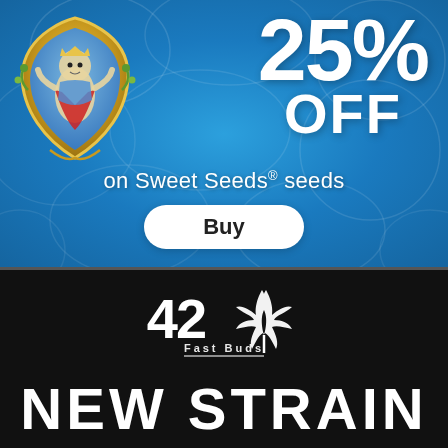[Figure (infographic): Sweet Seeds advertisement banner on blue water cell-pattern background. Shows a decorative heraldic crest logo on the left, large white '25% OFF' text on the right, 'on Sweet Seeds® seeds' subtitle, and a white 'Buy' button. Below is a dark banner with '42 Fast Buds' logo and 'NEW STRAIN' text.]